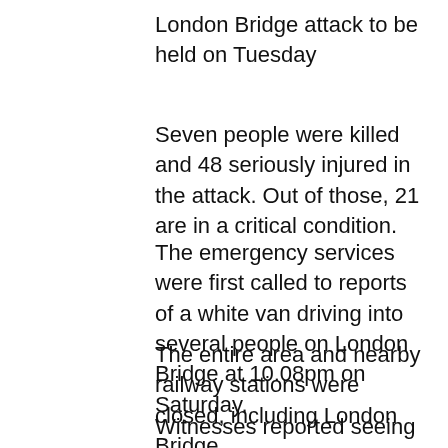London Bridge attack to be held on Tuesday
Seven people were killed and 48 seriously injured in the attack. Out of those, 21 are in a critical condition.
The emergency services were first called to reports of a white van driving into several people on London Bridge at 10.08pm on Saturday.
The entire area and nearby railway stations were closed, including London Bridge.
Witnesses reported seeing the van driving at around 50mph, mounting the pavement and sweving into a number of